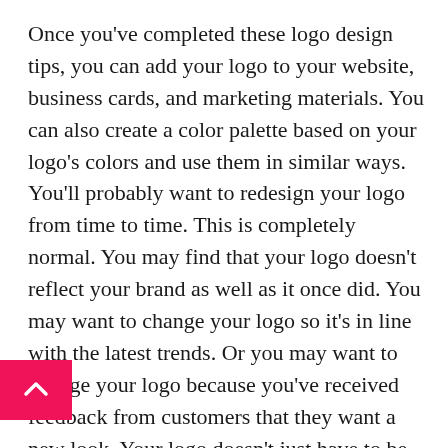Once you've completed these logo design tips, you can add your logo to your website, business cards, and marketing materials. You can also create a color palette based on your logo's colors and use them in similar ways. You'll probably want to redesign your logo from time to time. This is completely normal. You may find that your logo doesn't reflect your brand as well as it once did. You may want to change your logo so it's in line with the latest trends. Or you may want to change your logo because you've received feedback from customers that they want a new look. Your logo doesn't just have to be for your business. You can use your logo to show support for a cause or other issue that's important to you. You can use your logo to design posters and flyers, create merchandise, and even make signs.
[Figure (other): Pink/magenta scroll-to-top button with a white upward-pointing chevron arrow, positioned at the bottom-left of the page.]